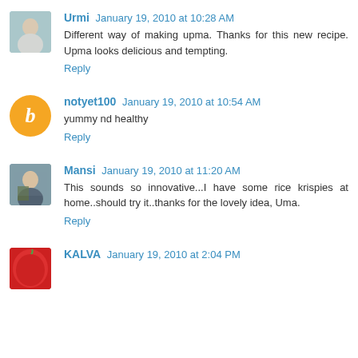Urmi January 19, 2010 at 10:28 AM
Different way of making upma. Thanks for this new recipe. Upma looks delicious and tempting.
Reply
notyet100 January 19, 2010 at 10:54 AM
yummy nd healthy
Reply
Mansi January 19, 2010 at 11:20 AM
This sounds so innovative...I have some rice krispies at home..should try it..thanks for the lovely idea, Uma.
Reply
KALVA January 19, 2010 at 2:04 PM